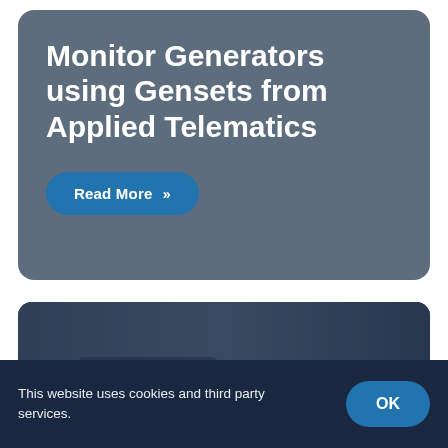Monitor Generators using Gensets from Applied Telematics
Read More »
[Figure (photo): Close-up photo of a vehicle interior/exterior component (appears to be a car vent or mechanical part) with a blurred dog in the background, overlaid with a dark blue tint.]
This website uses cookies and third party services.
OK